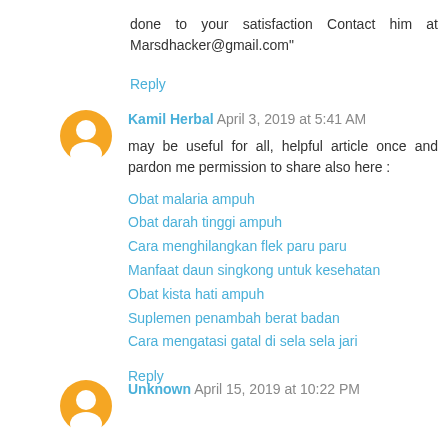done to your satisfaction Contact him at Marsdhacker@gmail.com"
Reply
Kamil Herbal April 3, 2019 at 5:41 AM
may be useful for all, helpful article once and pardon me permission to share also here :
Obat malaria ampuh
Obat darah tinggi ampuh
Cara menghilangkan flek paru paru
Manfaat daun singkong untuk kesehatan
Obat kista hati ampuh
Suplemen penambah berat badan
Cara mengatasi gatal di sela sela jari
Reply
Unknown April 15, 2019 at 10:22 PM